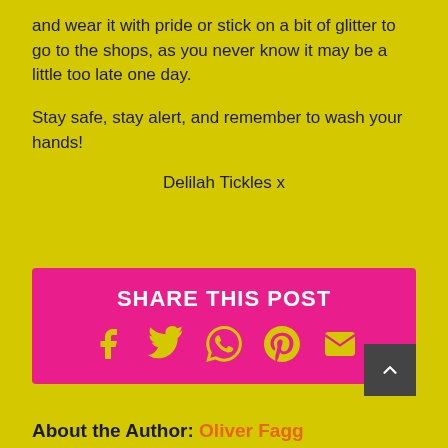and wear it with pride or stick on a bit of glitter to go to the shops, as you never know it may be a little too late one day.
Stay safe, stay alert, and remember to wash your hands!
Delilah Tickles x
SHARE THIS POST
[Figure (infographic): Social share icons for Facebook, Twitter, WhatsApp, Pinterest, and Email displayed in yellow on a pink background]
About the Author: Oliver Fagg